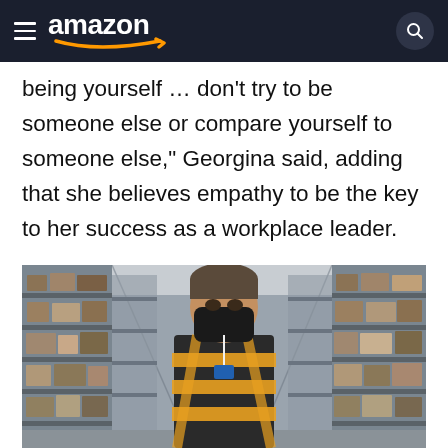amazon
being yourself … don't try to be someone else or compare yourself to someone else,” Georgina said, adding that she believes empathy to be the key to her success as a workplace leader.
[Figure (photo): A woman wearing a black face mask and a yellow/orange reflective safety vest stands in an Amazon warehouse aisle. Shelves filled with boxes and packages line both sides behind her.]